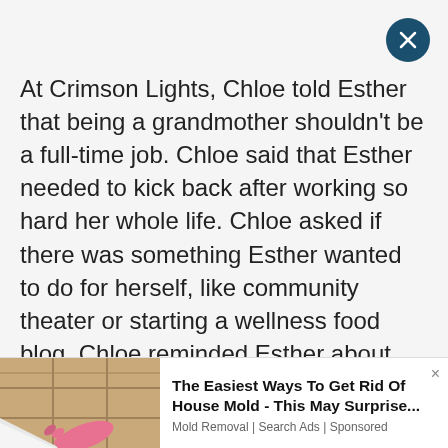At Crimson Lights, Chloe told Esther that being a grandmother shouldn't be a full-time job. Chloe said that Esther needed to kick back after working so hard her whole life. Chloe asked if there was something Esther wanted to do for herself, like community theater or starting a wellness food blog. Chloe reminded Esther about the smoothies she'd made for Mrs. C and all the heart-healthy meals she'd prepared for Jill.

Esther told Chloe she loved to cook, but only
[Figure (photo): Advertisement image showing a bathroom tile corner being cleaned with a pink-gloved hand]
The Easiest Ways To Get Rid Of House Mold - This May Surprise...
Mold Removal | Search Ads | Sponsored